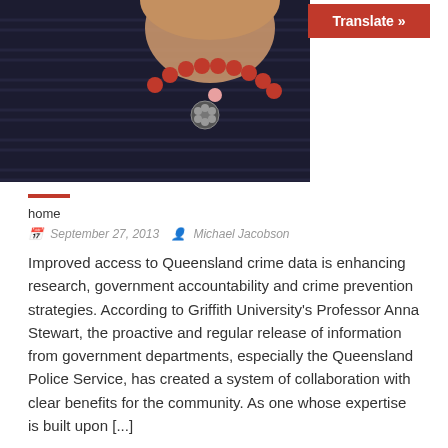[Figure (photo): Photo of a woman wearing a striped dark top and a red coral beaded necklace with a floral brooch, cropped at neck/chest level. A red 'Translate »' button appears in the upper right of the image area.]
home
September 27, 2013   Michael Jacobson
Improved access to Queensland crime data is enhancing research, government accountability and crime prevention strategies. According to Griffith University's Professor Anna Stewart, the proactive and regular release of information from government departments, especially the Queensland Police Service, has created a system of collaboration with clear benefits for the community. As one whose expertise is built upon [...]
Arguing the risks and benefits of social media